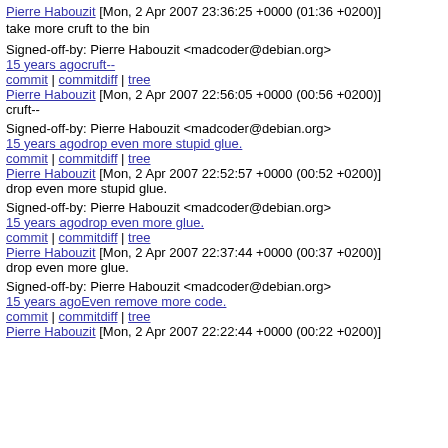Pierre Habouzit [Mon, 2 Apr 2007 23:36:25 +0000 (01:36 +0200)] take more cruft to the bin
Signed-off-by: Pierre Habouzit <madcoder@debian.org>
15 years agocruft-- commit | commitdiff | tree Pierre Habouzit [Mon, 2 Apr 2007 22:56:05 +0000 (00:56 +0200)] cruft--
Signed-off-by: Pierre Habouzit <madcoder@debian.org>
15 years agodrop even more stupid glue. commit | commitdiff | tree Pierre Habouzit [Mon, 2 Apr 2007 22:52:57 +0000 (00:52 +0200)] drop even more stupid glue.
Signed-off-by: Pierre Habouzit <madcoder@debian.org>
15 years agodrop even more glue. commit | commitdiff | tree Pierre Habouzit [Mon, 2 Apr 2007 22:37:44 +0000 (00:37 +0200)] drop even more glue.
Signed-off-by: Pierre Habouzit <madcoder@debian.org>
15 years agoEven remove more code. commit | commitdiff | tree Pierre Habouzit [Mon, 2 Apr 2007 22:22:44 +0000 (00:22 +0200)]